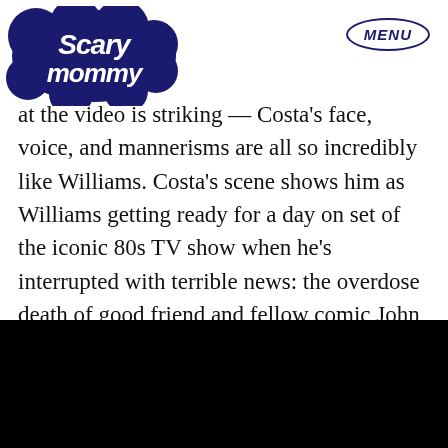Scary Mommy | MENU
at the video is striking — Costa's face, voice, and mannerisms are all so incredibly like Williams. Costa's scene shows him as Williams getting ready for a day on set of the iconic 80s TV show when he's interrupted with terrible news: the overdose death of good friend and fellow comic John Belushi, whom Williams had been out partying with the night of his death.
[Figure (photo): Black rectangle representing a video embed or image at the bottom of the page]